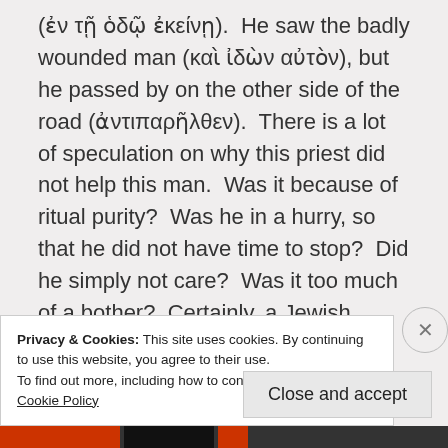(ἐν τῇ ὁδῷ ἐκείνῃ).  He saw the badly wounded man (καὶ ἰδὼν αὐτὸν), but he passed by on the other side of the road (ἀντιπαρῆλθεν).  There is a lot of speculation on why this priest did not help this man.  Was it because of ritual purity?  Was he in a hurry, so that he did not have time to stop?  Did he simply not care?  Was it too much of a bother?  Certainly, a Jewish priest had standing in the Jewish community.  Other than the high priest, he represented the most important level of Jewish
Privacy & Cookies: This site uses cookies. By continuing to use this website, you agree to their use.
To find out more, including how to control cookies, see here: Cookie Policy